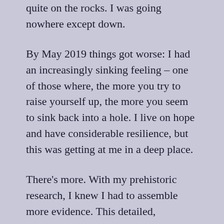quite on the rocks. I was going nowhere except down.
By May 2019 things got worse: I had an increasingly sinking feeling – one of those where, the more you try to raise yourself up, the more you seem to sink back into a hole. I live on hope and have considerable resilience, but this was getting at me in a deep place.
There's more. With my prehistoric research, I knew I had to assemble more evidence. This detailed, meticulous work just had to be done before I could progress with drawing conclusions from the research. From May to August I slogged away on mapping the ancient sites of West Cornwall. I was driven